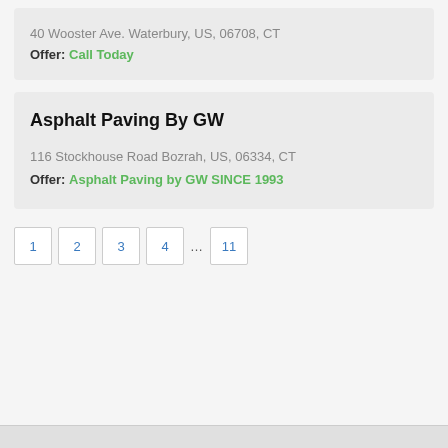40 Wooster Ave. Waterbury, US, 06708, CT
Offer: Call Today
Asphalt Paving By GW
116 Stockhouse Road Bozrah, US, 06334, CT
Offer: Asphalt Paving by GW SINCE 1993
1
2
3
4
11